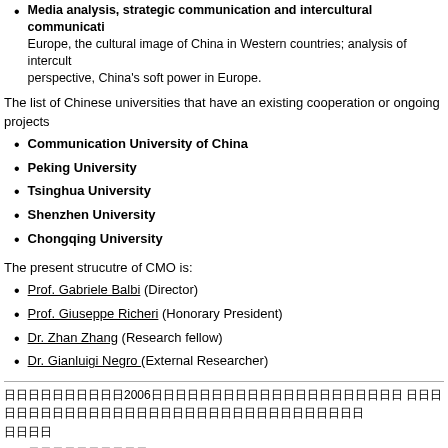Media analysis, strategic communication and intercultural communication — Europe, the cultural image of China in Western countries; analysis of intercultural perspective, China's soft power in Europe.
The list of Chinese universities that have an existing cooperation or ongoing projects
Communication University of China
Peking University
Tsinghua University
Shenzhen University
Chongqing University
The present strucutre of CMO is:
Prof. Gabriele Balbi (Director)
Prof. Giuseppe Richeri (Honorary President)
Dr. Zhan Zhang (Research fellow)
Dr. Gianluigi Negro (External Researcher)
[Chinese text section with 2006 reference]
[Chinese list item 1]
[Chinese list item 2]
[Chinese list item 3]
[Chinese list item 4]